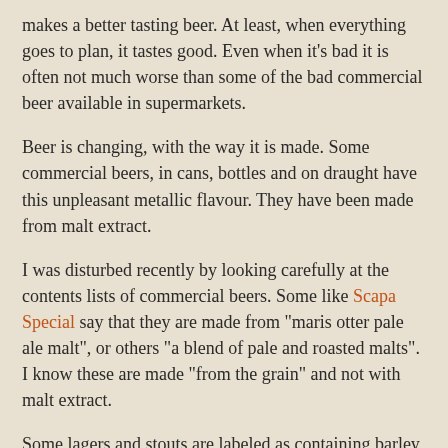makes a better tasting beer. At least, when everything goes to plan, it tastes good. Even when it's bad it is often not much worse than some of the bad commercial beer available in supermarkets.
Beer is changing, with the way it is made. Some commercial beers, in cans, bottles and on draught have this unpleasant metallic flavour. They have been made from malt extract.
I was disturbed recently by looking carefully at the contents lists of commercial beers. Some like Scapa Special say that they are made from "maris otter pale ale malt", or others "a blend of pale and roasted malts". I know these are made "from the grain" and not with malt extract.
Some lagers and stouts are labeled as containing barley, wheat and oats, with no mention at all of the malt.  I can't help but wonder if they have been made from syrups, much like the high fructose corn syrup so popular in the processed food industry. This could explain the uniform blandness of some of these cheaper beers.